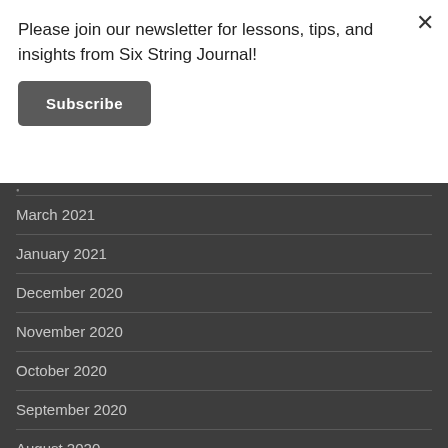Please join our newsletter for lessons, tips, and insights from Six String Journal!
Subscribe
March 2021
January 2021
December 2020
November 2020
October 2020
September 2020
August 2020
July 2020